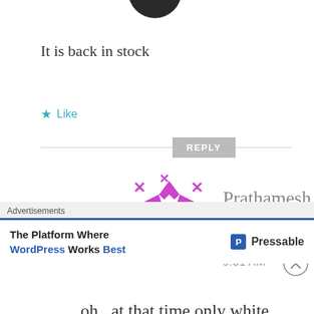[Figure (photo): Partial dark circular avatar at top center, cropped]
It is back in stock
★ Like
REPLY
[Figure (illustration): Purple geometric pattern avatar for user Prathamesh]
Prathamesh
JUNE 17, 2014 AT 9:31 AM
oh.. at that time only white was in stock... wanted to
Advertisements
The Platform Where WordPress Works Best
[Figure (logo): Pressable logo with blue P icon]